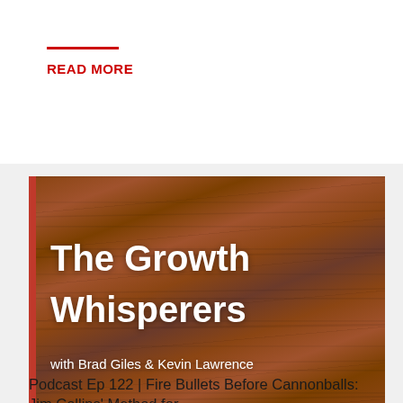READ MORE
[Figure (illustration): The Growth Whisperers podcast cover art on a wooden background with text 'The Growth Whisperers with Brad Giles & Kevin Lawrence']
Podcast Ep 122 | Fire Bullets Before Cannonballs: Jim Collins' Method for